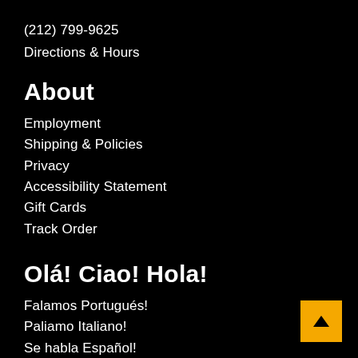(212) 799-9625
Directions & Hours
About
Employment
Shipping & Policies
Privacy
Accessibility Statement
Gift Cards
Track Order
Olá! Ciao! Hola!
Falamos Portugués!
Paliamo Italiano!
Se habla Español!